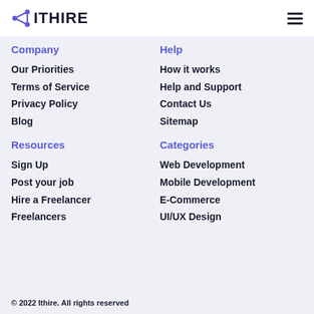ITHIRE
Company
Our Priorities
Terms of Service
Privacy Policy
Blog
Help
How it works
Help and Support
Contact Us
Sitemap
Resources
Sign Up
Post your job
Hire a Freelancer
Freelancers
Categories
Web Development
Mobile Development
E-Commerce
UI/UX Design
© 2022 Ithire. All rights reserved